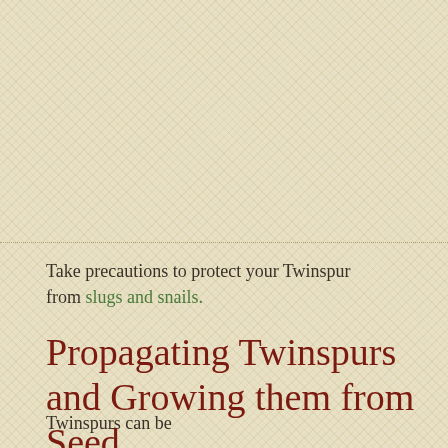Take precautions to protect your Twinspur from slugs and snails.
Propagating Twinspurs and Growing them from Seed
Twinspurs can be